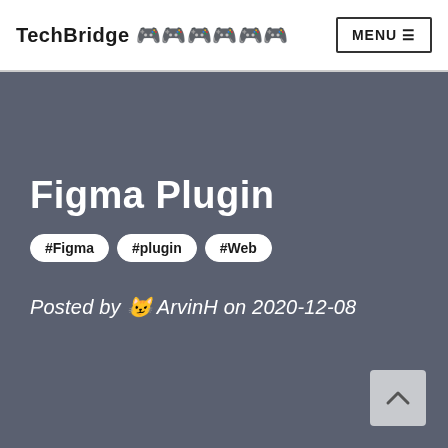TechBridge 🎮🎮🎮🎮🎮🎮
Figma Plugin
#Figma
#plugin
#Web
Posted by 😺 ArvinH on 2020-12-08